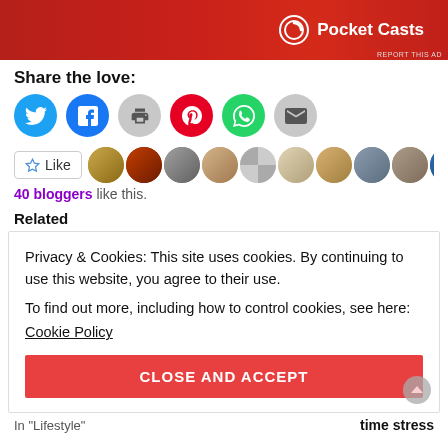[Figure (illustration): Pocket Casts advertisement banner with red background showing a phone and Pocket Casts logo with text]
Share the love:
[Figure (infographic): Row of share buttons: Twitter (blue circle), Facebook (blue circle), Print (grey circle), Pinterest (red circle), WhatsApp (green circle), Email (grey circle)]
[Figure (infographic): Like button with star icon followed by a row of blogger avatar photos]
40 bloggers like this.
Related
Privacy & Cookies: This site uses cookies. By continuing to use this website, you agree to their use.
To find out more, including how to control cookies, see here:
Cookie Policy
CLOSE AND ACCEPT
In "Lifestyle"